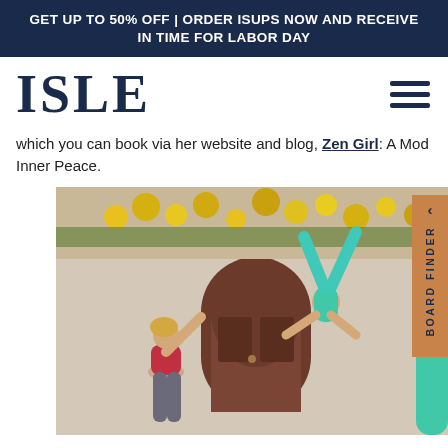GET UP TO 50% OFF | ORDER ISUPS NOW AND RECEIVE IN TIME FOR LABOR DAY
[Figure (logo): ISLE brand logo in dark navy bold serif font]
which you can book via her website and blog, Zen Girl: A Mod Inner Peace.
[Figure (photo): Two women performing acrobatic yoga poses outdoors in front of a wooden arched door with yellow flowers above. One woman wears red top and grey leggings, the other wears teal/mint athletic outfit. A BOARD FINDER tab appears on the right edge.]